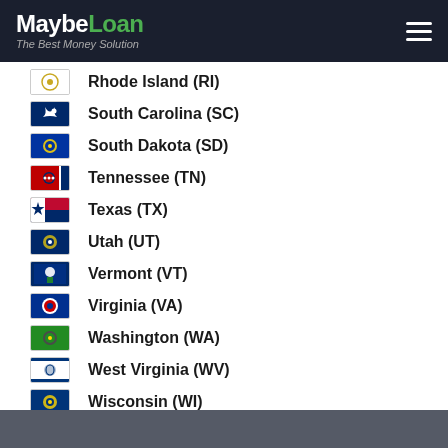MaybeLoan – The Best Money Solution
Rhode Island (RI)
South Carolina (SC)
South Dakota (SD)
Tennessee (TN)
Texas (TX)
Utah (UT)
Vermont (VT)
Virginia (VA)
Washington (WA)
West Virginia (WV)
Wisconsin (WI)
Wyoming (WY)